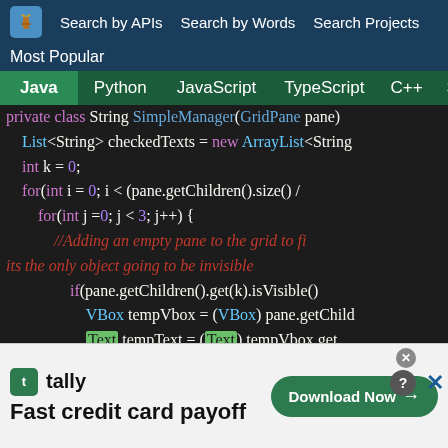Search by APIs  Search by Words  Search Projects
Most Popular
Java  Python  JavaScript  TypeScript  C++  Scala
[Figure (screenshot): Java code snippet showing ArrayList creation, for-loops, and JavaFX node manipulation with syntax highlighting on dark background]
[Figure (other): Advertisement banner for Tally app: 'Fast credit card payoff' with Download Now button]